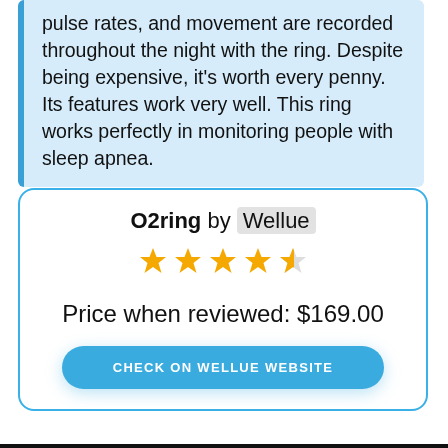pulse rates, and movement are recorded throughout the night with the ring. Despite being expensive, it's worth every penny. Its features work very well. This ring works perfectly in monitoring people with sleep apnea.
O2ring by Wellue
[Figure (other): 4.5 out of 5 stars rating (four full gold stars and one half gold star)]
Price when reviewed: $169.00
CHECK ON WELLUE WEBSITE